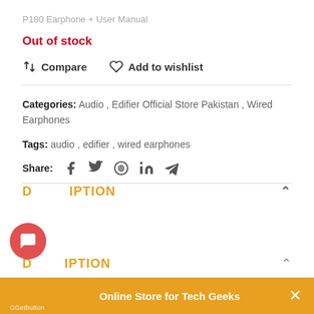P180 Earphone + User Manual
Out of stock
Compare   Add to wishlist
Categories: Audio , Edifier Official Store Pakistan , Wired Earphones
Tags: audio , edifier , wired earphones
Share:
DESCRIPTION